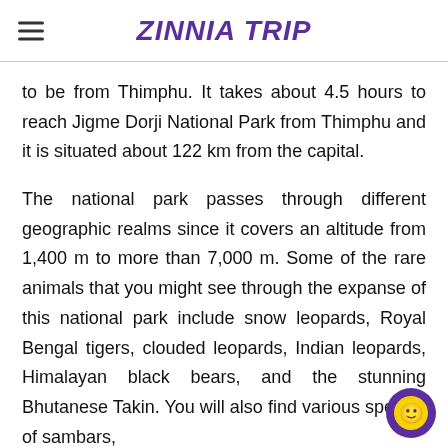ZINNIA TRIP
to be from Thimphu. It takes about 4.5 hours to reach Jigme Dorji National Park from Thimphu and it is situated about 122 km from the capital.
The national park passes through different geographic realms since it covers an altitude from 1,400 m to more than 7,000 m. Some of the rare animals that you might see through the expanse of this national park include snow leopards, Royal Bengal tigers, clouded leopards, Indian leopards, Himalayan black bears, and the stunning Bhutanese Takin. You will also find various species of sambars,